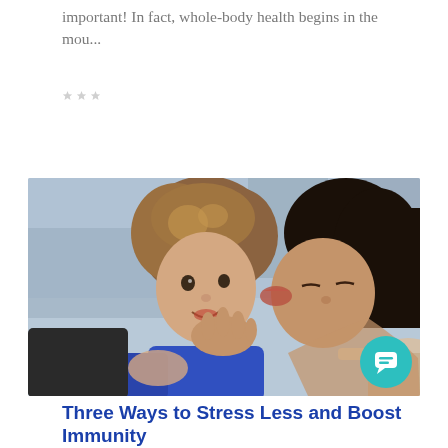important! In fact, whole-body health begins in the mou...
LEARN MORE
[Figure (photo): A woman kissing a young boy on the cheek; the boy looks toward the camera and smiles. Both are outdoors, the boy wearing a blue shirt and the woman with dark hair pulled back.]
Three Ways to Stress Less and Boost Immunity